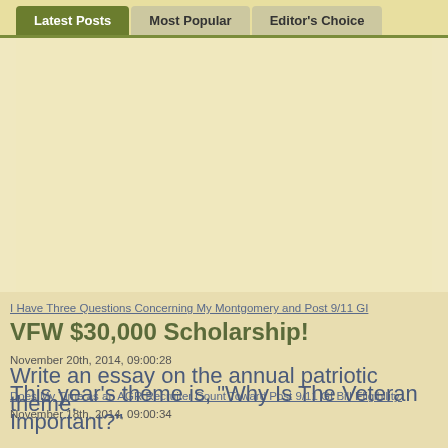Latest Posts | Most Popular | Editor's Choice
[Figure (other): Large blank cream/yellow content area placeholder]
I Have Three Questions Concerning My Montgomery and Post 9/11 GI
VFW $30,000 Scholarship!
November 20th, 2014, 09:00:28
Write an essay on the annual patriotic theme. This year's theme is, "Why Is The Veteran Important?"
Does My Time as an AGR Recruiter Count Toward Post 9/11 GI Bill Eligibility.
November 18th, 2014, 09:00:34